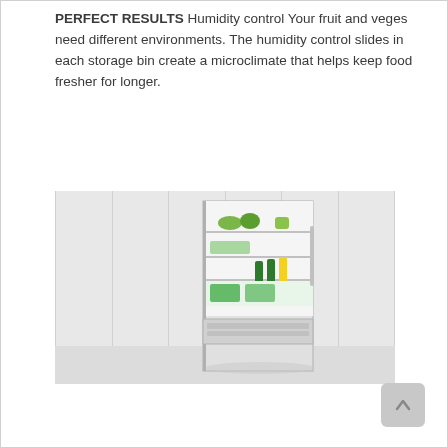PERFECT RESULTS Humidity control Your fruit and veges need different environments. The humidity control slides in each storage bin create a microclimate that helps keep food fresher for longer.
[Figure (photo): Open refrigerator/freezer combo unit shown against a white paneled kitchen background. The fridge door is ajar revealing shelves with green vegetables, bottles of champagne/wine, and other food items. The freezer drawer is also partially open at the bottom.]